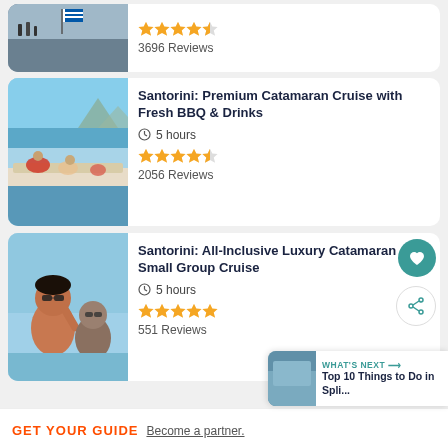[Figure (photo): Partial top card showing a Greek scene with blue and white flag]
3696 Reviews
[Figure (photo): People relaxing on a catamaran with blue sea and mountains in the background]
Santorini: Premium Catamaran Cruise with Fresh BBQ & Drinks
5 hours
2056 Reviews
[Figure (photo): Couple on a boat taking a selfie with turquoise water]
Santorini: All-Inclusive Luxury Catamaran Small Group Cruise
5 hours
551 Reviews
GET YOUR GUIDE  Become a partner.